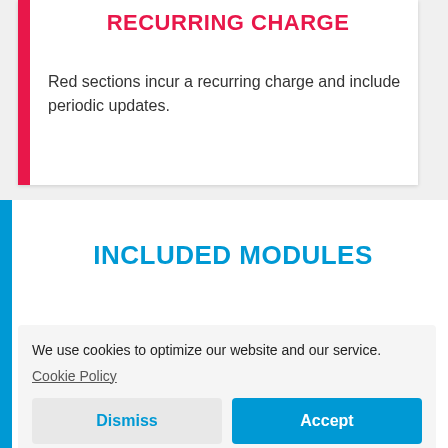RECURRING CHARGE
Red sections incur a recurring charge and include periodic updates.
INCLUDED MODULES
We use cookies to optimize our website and our service.
Cookie Policy
Dismiss
Accept